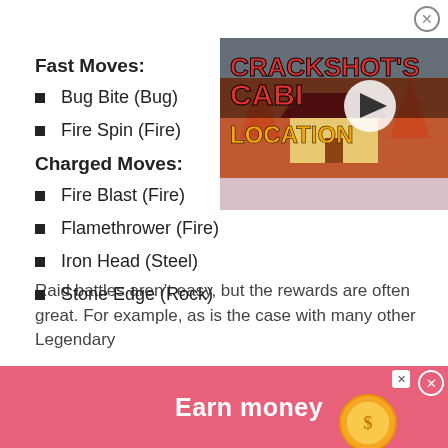[Figure (screenshot): Video thumbnail showing 'Crackshot's Cabin Location' text over a Fortnite-style winter cabin scene, with a play button overlay.]
Fast Moves:
Bug Bite (Bug)
Fire Spin (Fire)
Charged Moves:
Fire Blast (Fire)
Flamethrower (Fire)
Iron Head (Steel)
Stone Edge (Rock)
Raid battles aren’t easy, but the rewards are often great. For example, as is the case with many other Legendary
Poke… …r only opport… …re